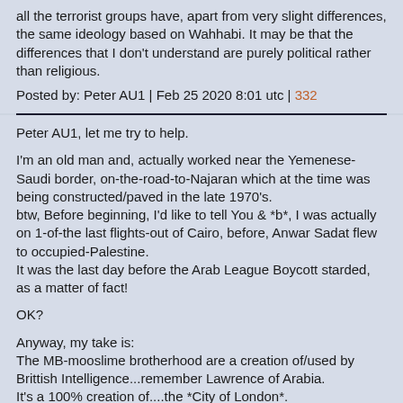all the terrorist groups have, apart from very slight differences, the same ideology based on Wahhabi. It may be that the differences that I don't understand are purely political rather than religious.
Posted by: Peter AU1 | Feb 25 2020 8:01 utc | 332
Peter AU1, let me try to help.
I'm an old man and, actually worked near the Yemenese-Saudi border, on-the-road-to-Najaran which at the time was being constructed/paved in the late 1970's.
btw, Before beginning, I'd like to tell You & *b*, I was actually on 1-of-the last flights-out of Cairo, before, Anwar Sadat flew to occupied-Palestine.
It was the last day before the Arab League Boycott starded, as a matter of fact!
OK?
Anyway, my take is:
The MB-mooslime brotherhood are a creation of/used by Brittish Intelligence...remember Lawrence of Arabia.
It's a 100% creation of....the *City of London*.
The al-cia-da/jizzreali intel service(isis) are in the same grouping; i.e. created by...((you know who)))...same banking dynasties in >>>the *City of London*<<<.
The wapphabees, are, just another creation of the same